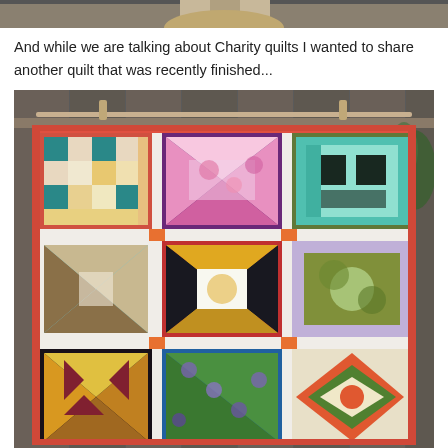[Figure (photo): Top portion of a photo showing a person, cropped, gray/dark background]
And while we are talking about Charity quilts I wanted to share another quilt that was recently finished...
[Figure (photo): A colorful charity quilt hanging on a wooden fence, featuring 9 quilt blocks in a 3x3 arrangement with various patterns and colors including red border, floral, geometric, and star patterns.]